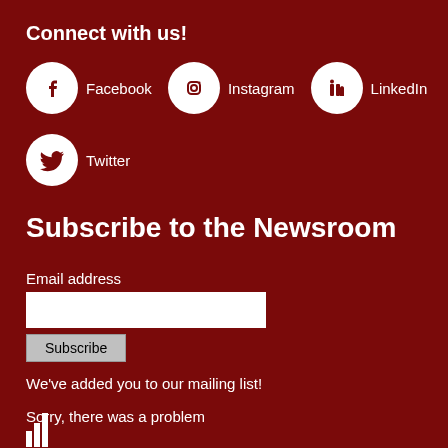Connect with us!
[Figure (illustration): Social media icons row: Facebook (f icon in white circle), Instagram (camera icon in white circle), LinkedIn (in icon in white circle), Twitter (bird icon in white circle) with labels]
Subscribe to the Newsroom
Email address
Subscribe
We've added you to our mailing list!
Sorry, there was a problem
[Figure (logo): University logo mark (white) at bottom left]